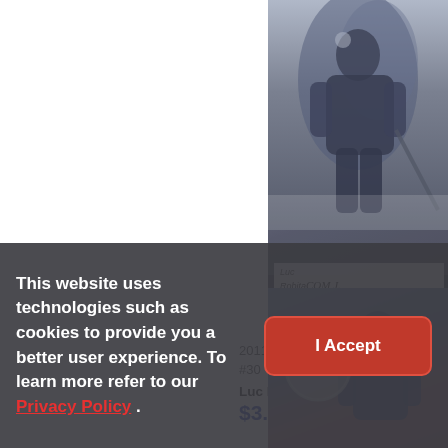[Figure (photo): Trading card image showing Luc Robitaille hockey card from 2011-12 Ultimate Collection, with player in purple jersey and autograph area]
2011-12 Ultimate Co... #30
Luc Robitaille #/399
$3.42
[Figure (photo): Second hockey trading card partially visible at bottom right]
This website uses technologies such as cookies to provide you a better user experience. To learn more refer to our Privacy Policy .
I Accept